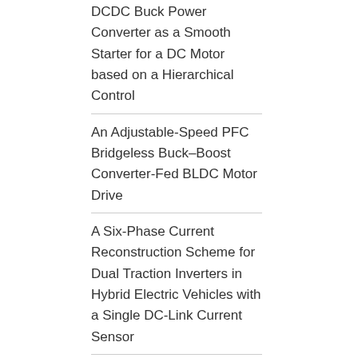DCDC Buck Power Converter as a Smooth Starter for a DC Motor based on a Hierarchical Control
An Adjustable-Speed PFC Bridgeless Buck–Boost Converter-Fed BLDC Motor Drive
A Six-Phase Current Reconstruction Scheme for Dual Traction Inverters in Hybrid Electric Vehicles with a Single DC-Link Current Sensor
A Novel Speed Measurement Method for a High-Speed BLDC Motor Based on the Signals From the Rotor Position Sensor
A Four-Level Inversion Scheme for a 6n-Pole Open-End Winding Induction Motor Drive for an